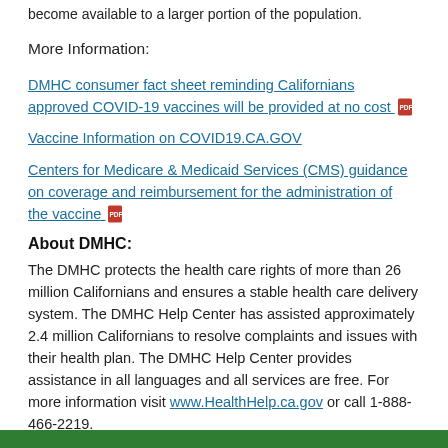become available to a larger portion of the population.
More Information:
DMHC consumer fact sheet reminding Californians approved COVID-19 vaccines will be provided at no cost [PDF]
Vaccine Information on COVID19.CA.GOV
Centers for Medicare & Medicaid Services (CMS) guidance on coverage and reimbursement for the administration of the vaccine [PDF]
About DMHC:
The DMHC protects the health care rights of more than 26 million Californians and ensures a stable health care delivery system. The DMHC Help Center has assisted approximately 2.4 million Californians to resolve complaints and issues with their health plan. The DMHC Help Center provides assistance in all languages and all services are free. For more information visit www.HealthHelp.ca.gov or call 1-888-466-2219.